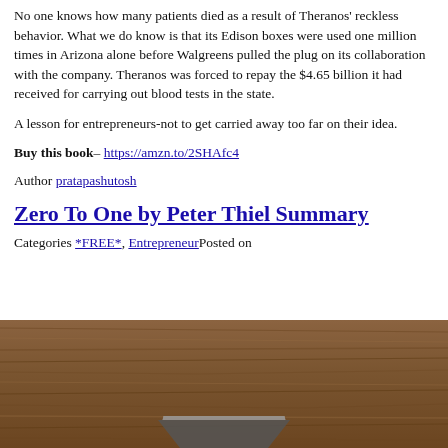No one knows how many patients died as a result of Theranos' reckless behavior. What we do know is that its Edison boxes were used one million times in Arizona alone before Walgreens pulled the plug on its collaboration with the company. Theranos was forced to repay the $4.65 billion it had received for carrying out blood tests in the state.
A lesson for entrepreneurs-not to get carried away too far on their idea.
Buy this book– https://amzn.to/2SHAfc4
Author pratapashutosh
Zero To One by Peter Thiel Summary
Categories *FREE*, EntrepreneurPosted on
[Figure (photo): Photo of a wooden desk surface with a laptop partially visible at the bottom]